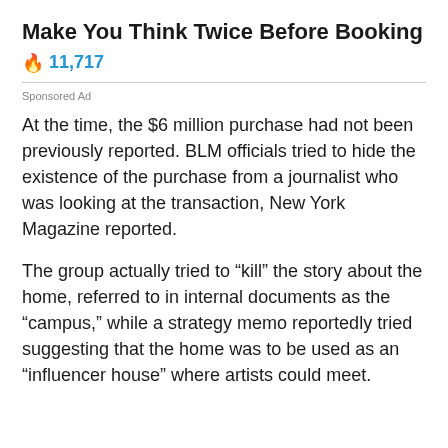Make You Think Twice Before Booking
🔥 11,717
Sponsored Ad
At the time, the $6 million purchase had not been previously reported. BLM officials tried to hide the existence of the purchase from a journalist who was looking at the transaction, New York Magazine reported.
The group actually tried to "kill" the story about the home, referred to in internal documents as the "campus," while a strategy memo reportedly tried suggesting that the home was to be used as an "influencer house" where artists could meet.